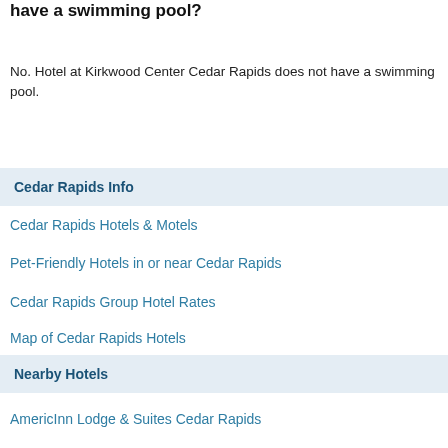have a swimming pool?
No. Hotel at Kirkwood Center Cedar Rapids does not have a swimming pool.
Cedar Rapids Info
Cedar Rapids Hotels & Motels
Pet-Friendly Hotels in or near Cedar Rapids
Cedar Rapids Group Hotel Rates
Map of Cedar Rapids Hotels
Nearby Hotels
AmericInn Lodge & Suites Cedar Rapids